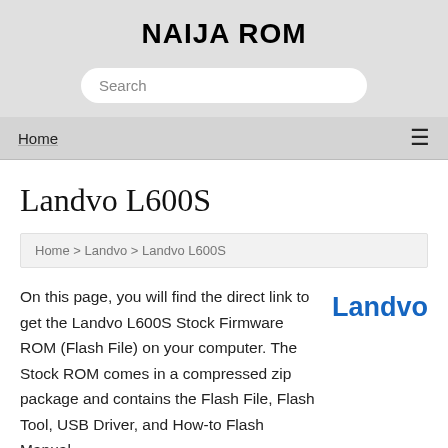NAIJA ROM
Search
Home  ≡
Landvo L600S
Home > Landvo > Landvo L600S
On this page, you will find the direct link to get the Landvo L600S Stock Firmware ROM (Flash File) on your computer. The Stock ROM comes in a compressed zip package and contains the Flash File, Flash Tool, USB Driver, and How-to Flash Manual.
[Figure (logo): Landvo brand logo in blue text]